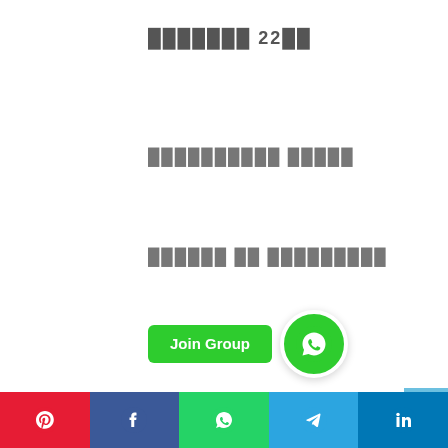███████ 22██
██████████ █████
██████ ██ █████████
[Figure (other): Join Group button with WhatsApp icon circle in green]
NO COMMENTS
[Figure (other): Social share bar with Pinterest, Facebook, WhatsApp, Telegram, LinkedIn icons]